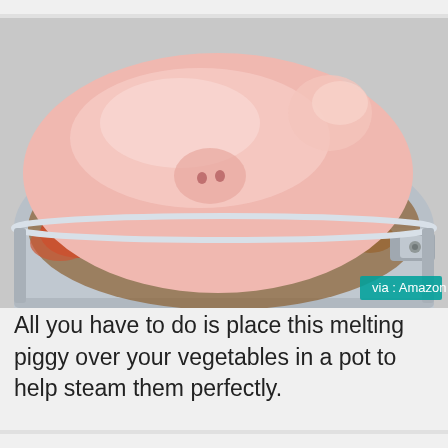[Figure (photo): A pink pig-shaped steamer lid placed over a stainless steel pot containing vegetables. The lid resembles a melting/flattened pig with two small nostril holes and a raised tail. A teal watermark in the bottom right reads 'via : Amazon'.]
All you have to do is place this melting piggy over your vegetables in a pot to help steam them perfectly.